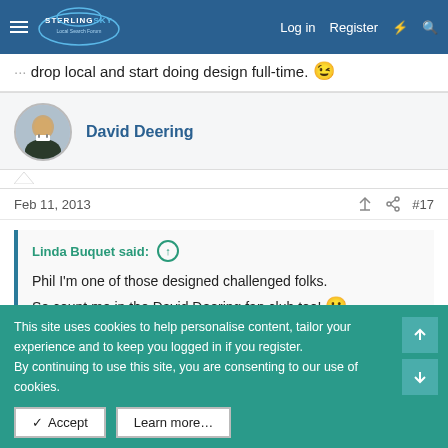Sterling Sky Local Search Forum — Log in  Register
drop local and start doing design full-time. 😉
David Deering
Feb 11, 2013  #17
Linda Buquet said: ↑
Phil I'm one of those designed challenged folks.
So count me in the David Deering fan club too! 😀
This site uses cookies to help personalise content, tailor your experience and to keep you logged in if you register.
By continuing to use this site, you are consenting to our use of cookies.
✓ Accept  Learn more…